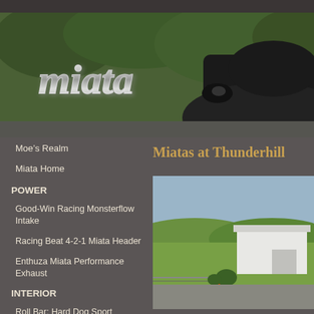[Figure (photo): Miata chrome script badge on car hood with trees and car body in background - hero banner image]
Moe's Realm
Miata Home
POWER
Good-Win Racing Monsterflow Intake
Racing Beat 4-2-1 Miata Header
Enthuza Miata Performance Exhaust
INTERIOR
Roll Bar: Hard Dog Sport Double Diagonal
Miata Chrome Gauge Rings
Miatas at Thunderhill
[Figure (photo): Thunderhill Raceway track photo showing green hills, a white building/garage structure, and track infrastructure under blue sky]